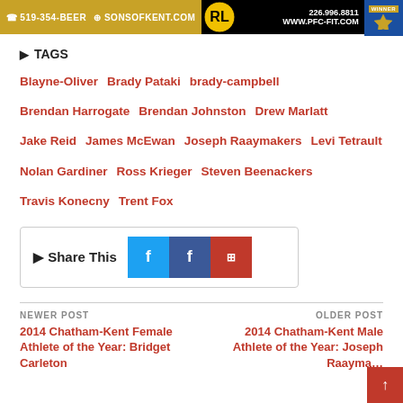[Figure (infographic): Two advertisement banners side by side. Left: gold background with phone icon, '519-354-BEER', globe icon, 'SONSOFKENT.COM'. Right: black background with circular logo, '226.996.8811', 'WWW.PFC-FIT.COM', winner badge.]
TAGS
Blayne-Oliver
Brady Pataki
brady-campbell
Brendan Harrogate
Brendan Johnston
Drew Marlatt
Jake Reid
James McEwan
Joseph Raaymakers
Levi Tetrault
Nolan Gardiner
Ross Krieger
Steven Beenackers
Travis Konecny
Trent Fox
[Figure (infographic): Share This box with Twitter (blue), Facebook (dark blue), and a red share button with grid icon.]
NEWER POST
2014 Chatham-Kent Female Athlete of the Year: Bridget Carleton
OLDER POST
2014 Chatham-Kent Male Athlete of the Year: Joseph Raaymakers